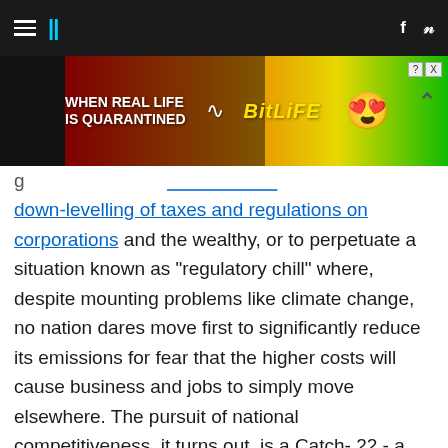HuffPost navigation bar with hamburger menu, logo, Facebook and Twitter icons
[Figure (screenshot): BitLife advertisement banner: rainbow background with text 'WHEN REAL LIFE IS QUARANTINED' and BitLife logo with emoji character]
down-levelling of taxes and regulations on corporations and the wealthy, or to perpetuate a situation known as "regulatory chill" where, despite mounting problems like climate change, no nation dares move first to significantly reduce its emissions for fear that the higher costs will cause business and jobs to simply move elsewhere. The pursuit of national competitiveness, it turns out, is a Catch- 22 - a double bind. It's an illusory 'pot of gold at the end of the rainbow' which, try as each nation might, can never be reached.